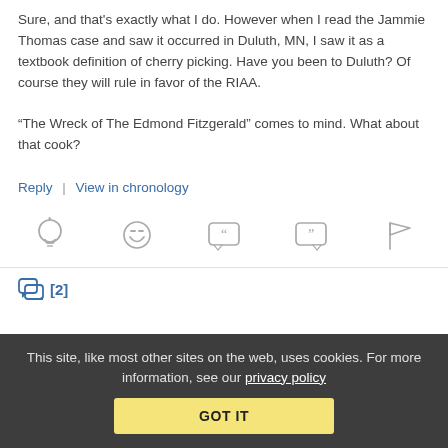Sure, and that's exactly what I do. However when I read the Jammie Thomas case and saw it occurred in Duluth, MN, I saw it as a textbook definition of cherry picking. Have you been to Duluth? Of course they will rule in favor of the RIAA.
“The Wreck of The Edmond Fitzgerald” comes to mind. What about that cook?
Reply | View in chronology
[Figure (infographic): Row of interactive icons: lightbulb (insight), laughing emoji (funny), open quote speech bubble, close quote speech bubble, flag (report)]
[2] comment count icon
This site, like most other sites on the web, uses cookies. For more information, see our privacy policy
GOT IT